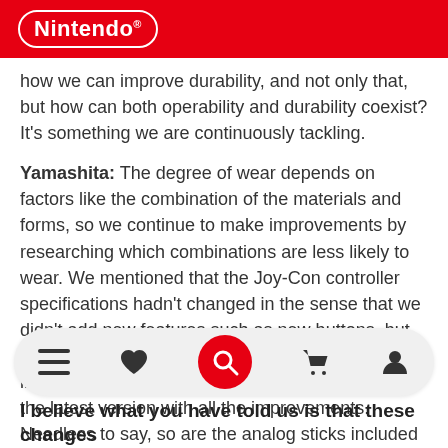Nintendo®
how we can improve durability, and not only that, but how can both operability and durability coexist? It's something we are continuously tackling.
Yamashita: The degree of wear depends on factors like the combination of the materials and forms, so we continue to make improvements by researching which combinations are less likely to wear. We mentioned that the Joy-Con controller specifications hadn't changed in the sense that we didn't add new features such as new buttons, but the analog sticks in the Joy-Con controllers included with Nintendo Switch – OLED Model are the latest version with all the improvements. Needless to say, so are the analog sticks included in Nintendo Switch, Nintendo Switch Lite, separately sold Joy-Con
[Figure (other): Mobile navigation bar with menu (hamburger), heart (favorites), red search button, cart, and user profile icons]
I believe what you have told us is that these changes